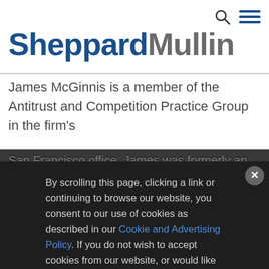[Figure (logo): Sheppard Mullin law firm logo with navigation icons (search and hamburger menu)]
James McGinnis is a member of the Antitrust and Competition Practice Group in the firm's
San Francisco office. James was formerly an Assistant United States Attorney for the Eastern and Central Districts of California, serving in the Cri
By scrolling this page, clicking a link or continuing to browse our website, you consent to our use of cookies as described in our Cookie and Advertising Policy. If you do not wish to accept cookies from our website, or would like to stop cookies being stored on your device in the future, you can find out more and adjust your preferences here.
Areas of Practice
James specializes in complex litigation and